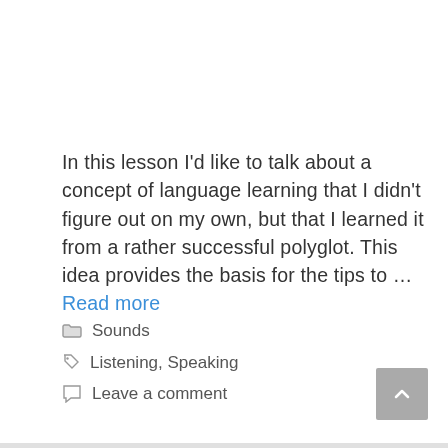In this lesson I'd like to talk about a concept of language learning that I didn't figure out on my own, but that I learned it from a rather successful polyglot. This idea provides the basis for the tips to … Read more
Sounds
Listening, Speaking
Leave a comment